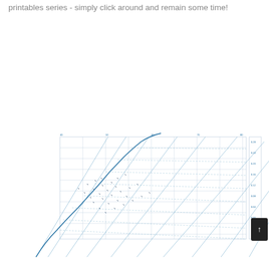printables series - simply click around and remain some time!
[Figure (engineering-diagram): Psychrometric Chart at Sea Level - a partial view showing the lower portion of a psychrometric chart with blue grid lines, dry-bulb temperature curves, humidity ratio lines, and various psychrometric property curves. Title reads 'PSYCHROMETRIC CHART Sea Level BAROMETRIC PRESSURE: mm (29in)']